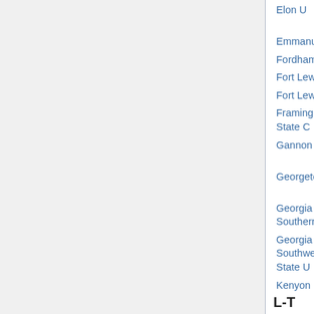| Institution | Subject | Deadline |
| --- | --- | --- |
| Elon U | all math | Dec 15 |
| Emmanuel C | all math | ? |
| Fordham U* | all math | ? |
| Fort Lewis C* | education | Dec 1 |
| Fort Lewis C* | education | Dec 1 |
| Framingham State C | math/stat | Nov 16 |
| Gannon U | applied/stat (p) | Nov 15 |
| Georgetown C | all math | Nov 20 |
| Georgia Southern U | stat | ? |
| Georgia Southwestern State U | all math | ? |
| Kenyon C* | applied (p) | Nov 15 |
L-T